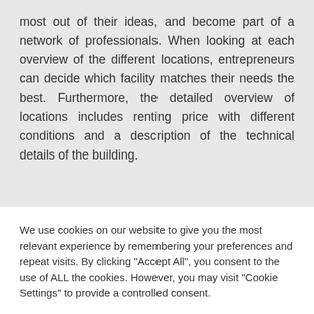most out of their ideas, and become part of a network of professionals. When looking at each overview of the different locations, entrepreneurs can decide which facility matches their needs the best. Furthermore, the detailed overview of locations includes renting price with different conditions and a description of the technical details of the building.
We use cookies on our website to give you the most relevant experience by remembering your preferences and repeat visits. By clicking "Accept All", you consent to the use of ALL the cookies. However, you may visit "Cookie Settings" to provide a controlled consent.
Cookie Settings | Accept All